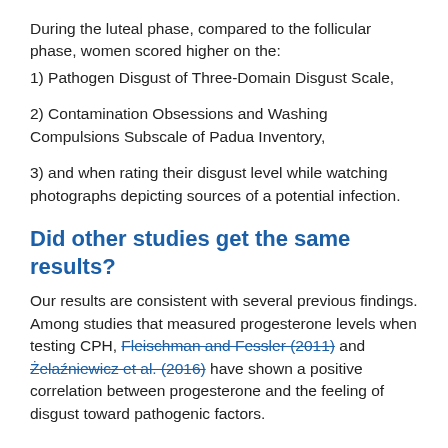During the luteal phase, compared to the follicular phase, women scored higher on the:
1) Pathogen Disgust of Three-Domain Disgust Scale,
2) Contamination Obsessions and Washing Compulsions Subscale of Padua Inventory,
3) and when rating their disgust level while watching photographs depicting sources of a potential infection.
Did other studies get the same results?
Our results are consistent with several previous findings. Among studies that measured progesterone levels when testing CPH, Fleischman and Fessler (2011) and Żelaźniewicz et al. (2016) have shown a positive correlation between progesterone and the feeling of disgust toward pathogenic factors.